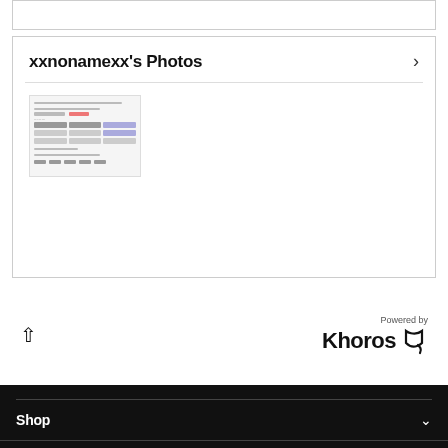[Figure (screenshot): Partial top border of a card/panel]
xxnonamexx's Photos
[Figure (screenshot): Thumbnail screenshot of a document/form with table rows and text lines]
[Figure (logo): Powered by Khoros logo with scroll-up arrow]
Shop
Top Device Brands